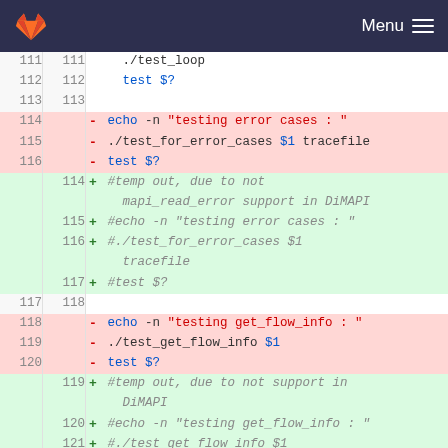[Figure (screenshot): GitLab navigation bar with fox logo and Menu hamburger icon on dark navy background]
Code diff view showing lines 111-122 of a shell script test file. Removed lines (red background): 114: - echo -n "testing error cases : ", 115: - ./test_for_error_cases $1 tracefile, 116: - test $?. Added lines (green background): 114: + #temp out, due to not mapi_read_error support in DiMAPI, 115: + #echo -n "testing error cases : ", 116: + #./test_for_error_cases $1 tracefile, 117: + #test $?. Context lines 117/118. Removed lines: 118: - echo -n "testing get_flow_info : ", 119: - ./test_get_flow_info $1, 120: - test $?. Added lines: 119: + #temp out, due to not support in DiMAPI, 120: + #echo -n "testing get_flow_info : ", 121: + #./test_get_flow_info $1, 122: + #test $?.